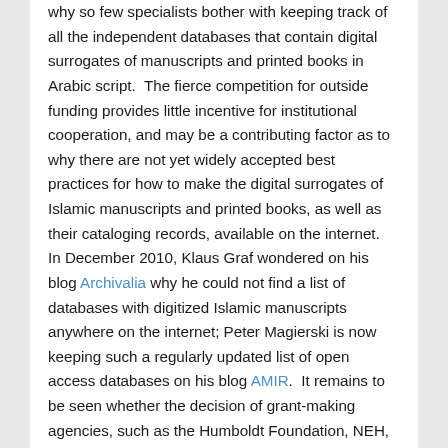why so few specialists bother with keeping track of all the independent databases that contain digital surrogates of manuscripts and printed books in Arabic script.  The fierce competition for outside funding provides little incentive for institutional cooperation, and may be a contributing factor as to why there are not yet widely accepted best practices for how to make the digital surrogates of Islamic manuscripts and printed books, as well as their cataloging records, available on the internet.  In December 2010, Klaus Graf wondered on his blog Archivalia why he could not find a list of databases with digitized Islamic manuscripts anywhere on the internet; Peter Magierski is now keeping such a regularly updated list of open access databases on his blog AMIR.  It remains to be seen whether the decision of grant-making agencies, such as the Humboldt Foundation, NEH, DFG, the Carnegie Corporation of New York, or the Doris Duke Foundation, to prioritize projects that necessitate domestic and international cooperation between institutions will provide an incentive to scholars in Middle Eastern and Islamic Studies to invent new models for how to coordinate the